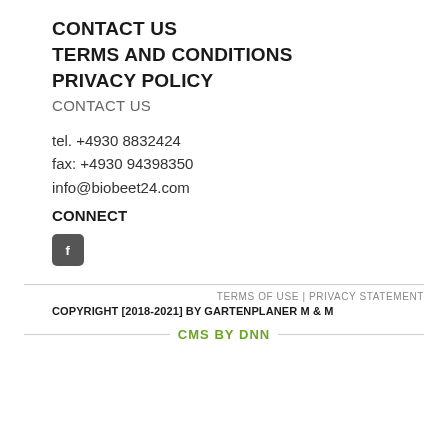CONTACT US
TERMS AND CONDITIONS
PRIVACY POLICY
CONTACT US
tel. +4930 8832424
fax: +4930 94398350
info@biobeet24.com
CONNECT
[Figure (logo): Facebook icon — grey square with white f logo]
TERMS OF USE | PRIVACY STATEMENT
COPYRIGHT [2018-2021] BY GARTENPLANER M & M
CMS BY DNN